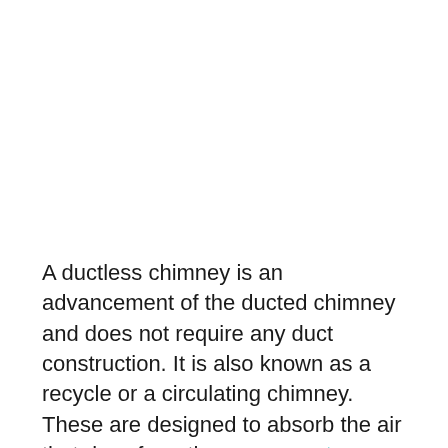A ductless chimney is an advancement of the ducted chimney and does not require any duct construction. It is also known as a recycle or a circulating chimney. These are designed to absorb the air that rises from the your gas stove, filter it by removing any grease and odour, and then recirculate the filtered air back into the kitchen environment. Since no construction is needed, installing a ductless chimney becomes extremely easy.